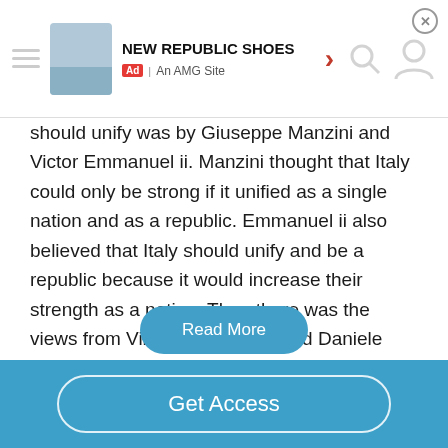[Figure (screenshot): Ad banner for New Republic Shoes with Ad badge and AMG Site label, close button, arrow, search and person icons]
should unify was by Giuseppe Manzini and Victor Emmanuel ii. Manzini thought that Italy could only be strong if it unified as a single nation and as a republic. Emmanuel ii also believed that Italy should unify and be a republic because it would increase their strength as a nation. Then there was the views from Vincenzo Gioberti and Daniele Manin. Gioberti believed that Italy shouldn't unify because it would take freedom and independence away from the kings, this would cause more foreign invasions and civil wars….
Read More
Get Access